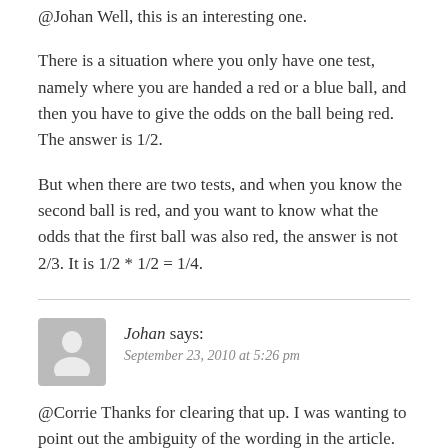@Johan Well, this is an interesting one.
There is a situation where you only have one test, namely where you are handed a red or a blue ball, and then you have to give the odds on the ball being red. The answer is 1/2.
But when there are two tests, and when you know the second ball is red, and you want to know what the odds that the first ball was also red, the answer is not 2/3. It is 1/2 * 1/2 = 1/4.
Johan says:
September 23, 2010 at 5:26 pm
@Corrie Thanks for clearing that up. I was wanting to point out the ambiguity of the wording in the article. Your wording is of course clear.